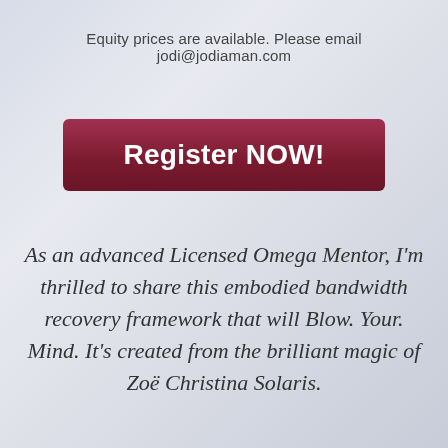Equity prices are available. Please email jodi@jodiaman.com
[Figure (other): Dark red rounded rectangle button with white bold text reading 'Register NOW!']
As an advanced Licensed Omega Mentor, I'm thrilled to share this embodied bandwidth recovery framework that will Blow. Your. Mind. It's created from the brilliant magic of Zoë Christina Solaris.